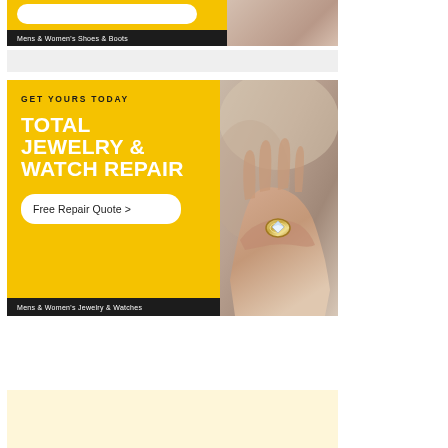[Figure (illustration): Top advertisement banner: yellow left panel with white text button, black bar at bottom reading 'Mens & Women's Shoes & Boots', right panel showing a partial photo of a person's arm/wrist]
[Figure (illustration): Main advertisement: yellow left panel with text 'GET YOURS TODAY', large bold white text 'TOTAL JEWELRY & WATCH REPAIR', white rounded button 'Free Repair Quote >', black bar at bottom reading 'Mens & Women's Jewelry & Watches'. Right panel shows a close-up photo of a hand holding a gold ring.]